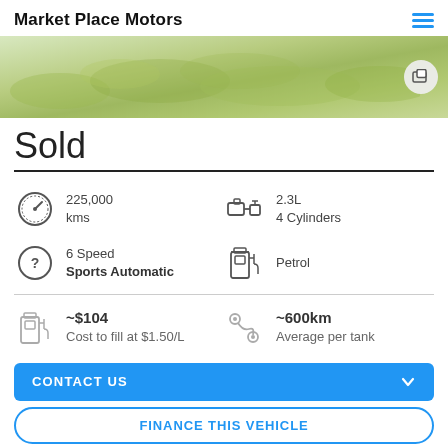Market Place Motors
[Figure (photo): Green grass field background image with a photo gallery icon overlay in the top right corner]
Sold
225,000 kms | 2.3L 4 Cylinders | 6 Speed Sports Automatic | Petrol
~$104 Cost to fill at $1.50/L | ~600km Average per tank
CONTACT US
FINANCE THIS VEHICLE